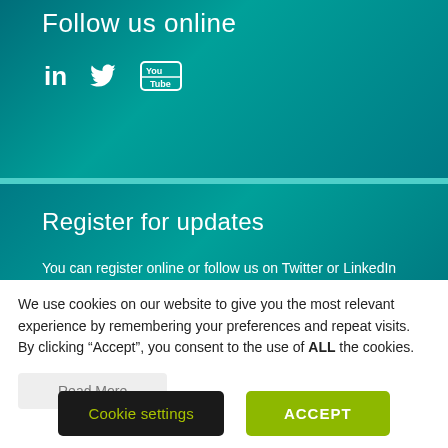Follow us online
[Figure (illustration): Social media icons: LinkedIn, Twitter, YouTube]
Register for updates
You can register online or follow us on Twitter or LinkedIn to receive our latest news, events and publications
We use cookies on our website to give you the most relevant experience by remembering your preferences and repeat visits. By clicking “Accept”, you consent to the use of ALL the cookies.
Read More
Cookie settings
ACCEPT